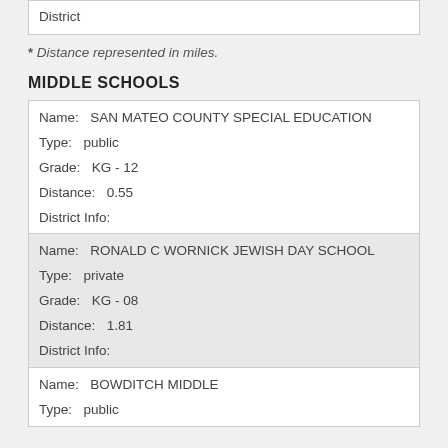| District |
* Distance represented in miles.
MIDDLE SCHOOLS
| Name: | SAN MATEO COUNTY SPECIAL EDUCATION |
| Type: | public |
| Grade: | KG - 12 |
| Distance: | 0.55 |
| District Info: |  |
| Name: | RONALD C WORNICK JEWISH DAY SCHOOL |
| Type: | private |
| Grade: | KG - 08 |
| Distance: | 1.81 |
| District Info: |  |
| Name: | BOWDITCH MIDDLE |
| Type: | public |